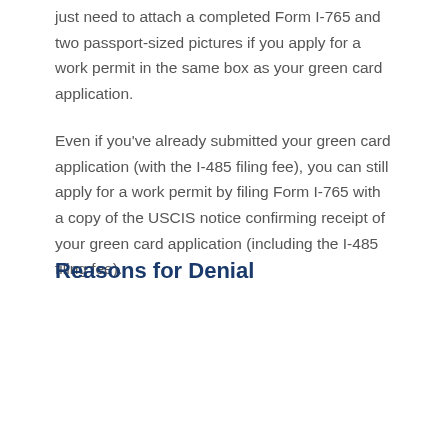just need to attach a completed Form I-765 and two passport-sized pictures if you apply for a work permit in the same box as your green card application.
Even if you've already submitted your green card application (with the I-485 filing fee), you can still apply for a work permit by filing Form I-765 with a copy of the USCIS notice confirming receipt of your green card application (including the I-485 filing fee).
Reasons for Denial